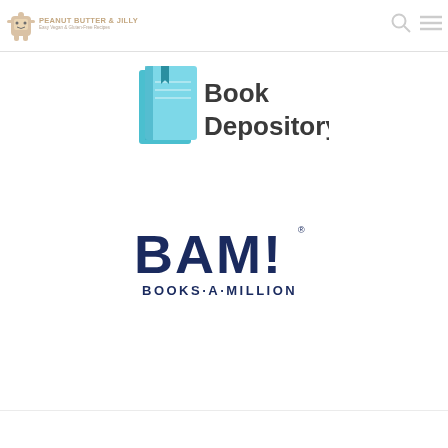[Figure (logo): Peanut Butter & Jilly logo with cartoon character and text 'Easy Vegan & Gluten-Free Recipes']
[Figure (logo): Book Depository logo with teal/blue book icon and bold text 'Book Depository']
[Figure (logo): BAM! Books-A-Million logo in dark navy blue]
[Figure (logo): Search icon (magnifying glass)]
[Figure (logo): Hamburger menu icon]